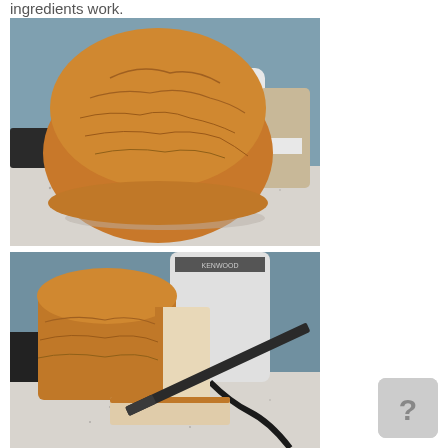ingredients work.
[Figure (photo): Photo of a round loaf of homemade bread sitting on a kitchen countertop, with appliances visible in the background. The bread has a golden-brown crust.]
[Figure (photo): Photo of the same homemade bread loaf now removed from the bread machine pan, showing its square-sided shape with a golden-brown top crust and pale sides, with a sliced piece and a bread knife on the counter.]